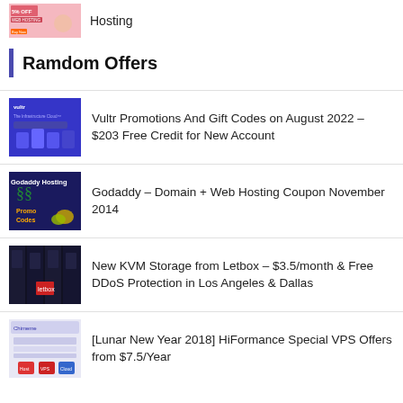Hosting
Ramdom Offers
Vultr Promotions And Gift Codes on August 2022 – $203 Free Credit for New Account
Godaddy – Domain + Web Hosting Coupon November 2014
New KVM Storage from Letbox – $3.5/month & Free DDoS Protection in Los Angeles & Dallas
[Lunar New Year 2018] HiFormance Special VPS Offers from $7.5/Year